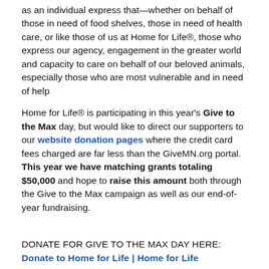as an individual express that—whether on behalf of those in need of food shelves, those in need of health care, or like those of us at Home for Life®, those who express our agency, engagement in the greater world and capacity to care on behalf of our beloved animals, especially those who are most vulnerable and in need of help
Home for Life® is participating in this year's Give to the Max day, but would like to direct our supporters to our website donation pages where the credit card fees charged are far less than the GiveMN.org portal. This year we have matching grants totaling $50,000 and hope to raise this amount both through the Give to the Max campaign as well as our end-of-year fundraising.
DONATE FOR GIVE TO THE MAX DAY HERE: Donate to Home for Life | Home for Life